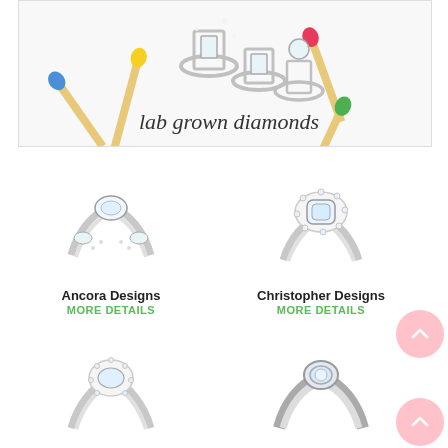[Figure (photo): Advertisement banner showing diamond rings arranged with colorful matchsticks on a white background, with text 'lab grown diamonds' in script font]
[Figure (photo): Ancora Designs diamond engagement ring - three-stone style with round center diamond and pavé band]
Ancora Designs
MORE DETAILS
[Figure (photo): Christopher Designs engagement ring with oval/cushion halo setting]
Christopher Designs
MORE DETAILS
[Figure (photo): Engagement ring with round center diamond and pavé accented band (bottom left, partially visible)]
[Figure (photo): Solitaire engagement ring with bezel-set round diamond (bottom right, partially visible)]